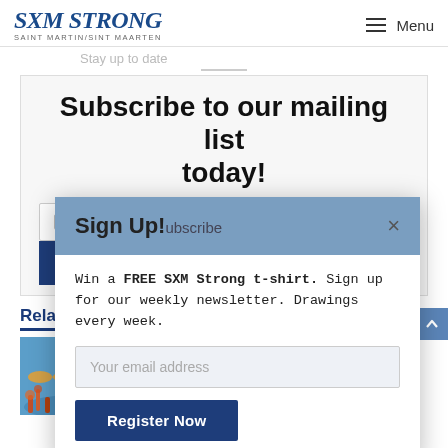SXM STRONG SAINT MARTIN/SINT MAARTEN — Menu
Stay up to date
Subscribe to our mailing list today!
Enter your Email address
Subscribe
Related Articles
[Figure (photo): Underwater coral reef scene with fish]
[Figure (photo): Building exterior with blue sky]
[Figure (screenshot): Sign Up modal popup overlay with header 'Sign Up!' and body text 'Win a FREE SXM Strong t-shirt. Sign up for our weekly newsletter. Drawings every week.' with a 'Your email address' input field and 'Register Now' button. A close (x) button in the top right.]